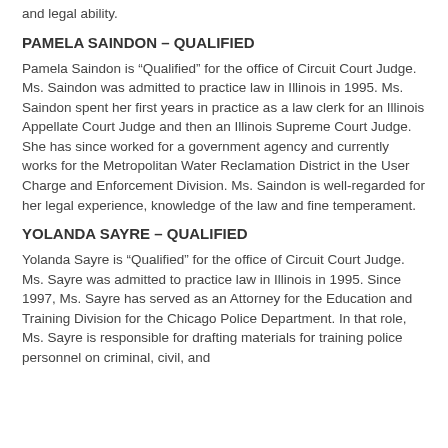and legal ability.
PAMELA SAINDON – QUALIFIED
Pamela Saindon is “Qualified” for the office of Circuit Court Judge. Ms. Saindon was admitted to practice law in Illinois in 1995. Ms. Saindon spent her first years in practice as a law clerk for an Illinois Appellate Court Judge and then an Illinois Supreme Court Judge. She has since worked for a government agency and currently works for the Metropolitan Water Reclamation District in the User Charge and Enforcement Division. Ms. Saindon is well‑regarded for her legal experience, knowledge of the law and fine temperament.
YOLANDA SAYRE – QUALIFIED
Yolanda Sayre is “Qualified” for the office of Circuit Court Judge. Ms. Sayre was admitted to practice law in Illinois in 1995. Since 1997, Ms. Sayre has served as an Attorney for the Education and Training Division for the Chicago Police Department. In that role, Ms. Sayre is responsible for drafting materials for training police personnel on criminal, civil, and